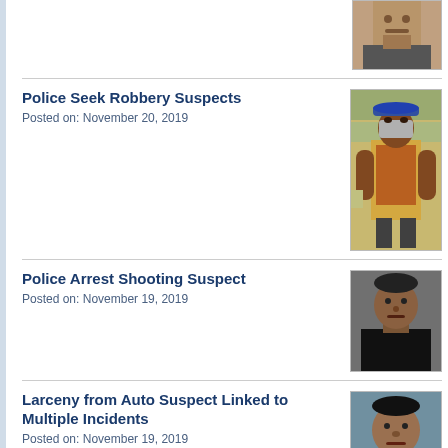[Figure (photo): Partial mugshot photo at top of page, only bottom portion visible]
Police Seek Robbery Suspects
Posted on: November 20, 2019
[Figure (photo): Photo of suspect wearing blue hat and vest, standing in store]
Police Arrest Shooting Suspect
Posted on: November 19, 2019
[Figure (photo): Mugshot photo of young male suspect]
Larceny from Auto Suspect Linked to Multiple Incidents
Posted on: November 19, 2019
[Figure (photo): Mugshot photo of male suspect in orange shirt]
Police Identify Driver Killed in Crash
Posted on: November 18, 2019
Police Investigate Fatal Crash
Posted on: November 17, 2019